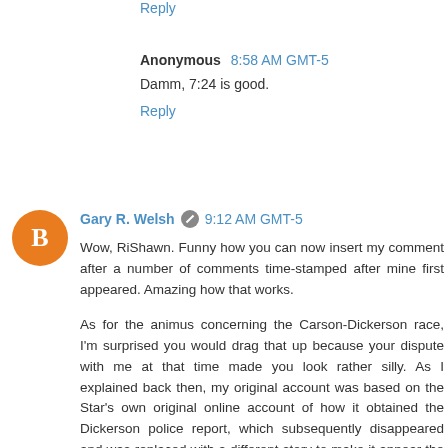Reply
Anonymous  8:58 AM GMT-5
Damm, 7:24 is good.
Reply
Gary R. Welsh  9:12 AM GMT-5
Wow, RiShawn. Funny how you can now insert my comment after a number of comments time-stamped after mine first appeared. Amazing how that works.
As for the animus concerning the Carson-Dickerson race, I'm surprised you would drag that up because your dispute with me at that time made you look rather silly. As I explained back then, my original account was based on the Star's own original online account of how it obtained the Dickerson police report, which subsequently disappeared and was replaced with a different story to make it appear the Star obtained the report on its own after Carson raised the issue with your editors. You then tried to make me out